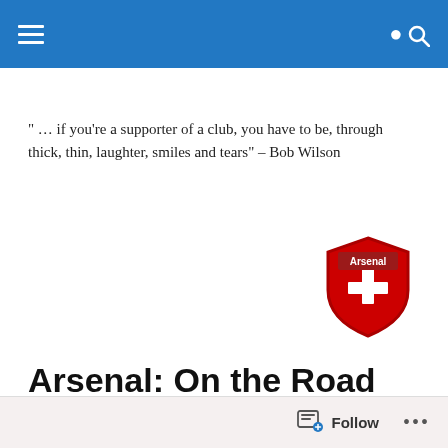" … if you're a supporter of a club, you have to be, through thick, thin, laughter, smiles and tears" – Bob Wilson
[Figure (logo): Arsenal FC shield logo — red shield with white cross and 'Arsenal' text]
Arsenal: On the Road toward Tomorrow
Posted by anicoll5
Follow  •••